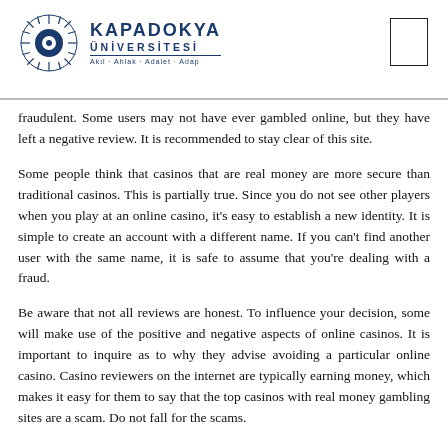KAPADOKYA ÜNİVERSİTESİ — Akıl · Ahlak · Adalet · Adap
fraudulent. Some users may not have ever gambled online, but they have left a negative review. It is recommended to stay clear of this site.
Some people think that casinos that are real money are more secure than traditional casinos. This is partially true. Since you do not see other players when you play at an online casino, it's easy to establish a new identity. It is simple to create an account with a different name. If you can't find another user with the same name, it is safe to assume that you're dealing with a fraud.
Be aware that not all reviews are honest. To influence your decision, some will make use of the positive and negative aspects of online casinos. It is important to inquire as to why they advise avoiding a particular online casino. Casino reviewers on the internet are typically earning money, which makes it easy for them to say that the top casinos with real money gambling sites are a scam. Do not fall for the scams.
Another feature of the best casinos with real money is customer